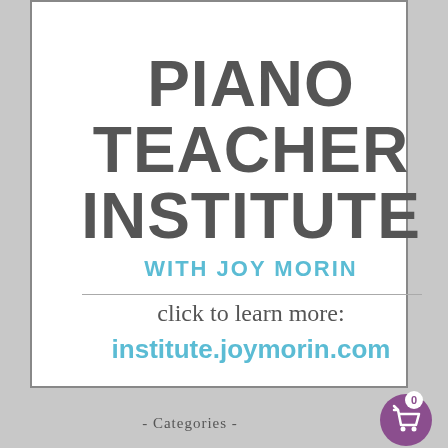Teachers. You are invited.
PIANO TEACHER INSTITUTE
WITH JOY MORIN
click to learn more:
institute.joymorin.com
- Categories -